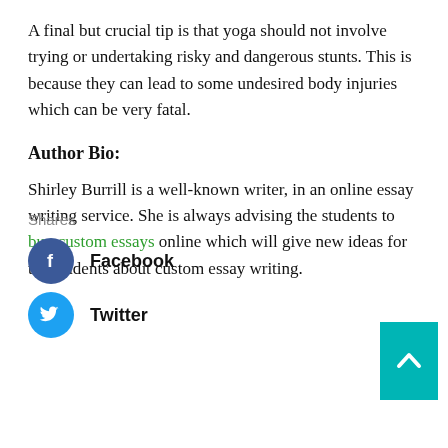A final but crucial tip is that yoga should not involve trying or undertaking risky and dangerous stunts. This is because they can lead to some undesired body injuries which can be very fatal.
Author Bio:
Shirley Burrill is a well-known writer, in an online essay writing service. She is always advising the students to buy custom essays online which will give new ideas for the students about custom essay writing.
Shares
Facebook
Twitter